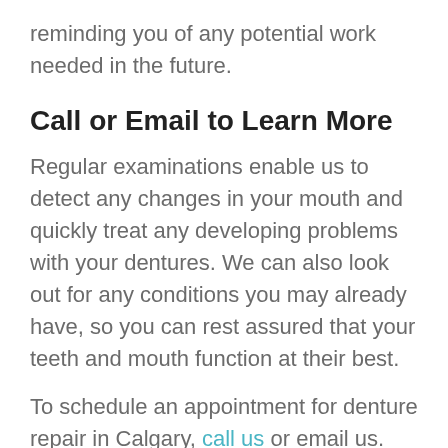reminding you of any potential work needed in the future.
Call or Email to Learn More
Regular examinations enable us to detect any changes in your mouth and quickly treat any developing problems with your dentures. We can also look out for any conditions you may already have, so you can rest assured that your teeth and mouth function at their best.
To schedule an appointment for denture repair in Calgary, call us or email us.